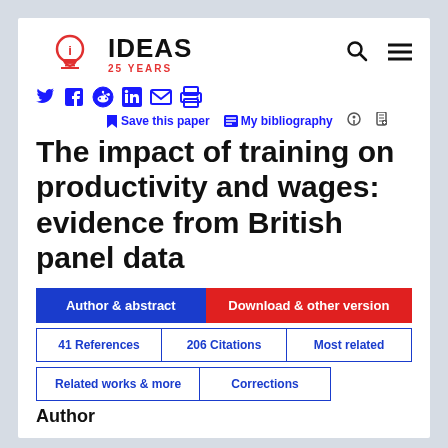[Figure (logo): IDEAS RepEc logo with lightbulb icon, '25 YEARS' text in red]
The impact of training on productivity and wages: evidence from British panel data
Save this paper   My bibliography
Author & abstract   Download & other version   41 References   206 Citations   Most related   Related works & more   Corrections
Author